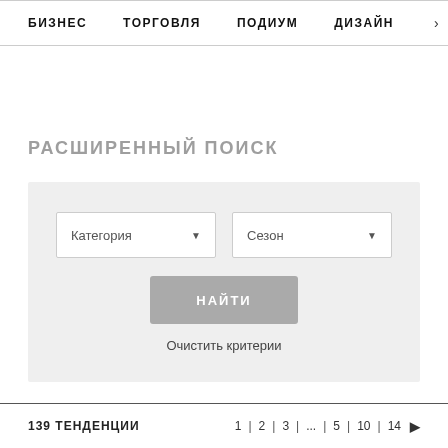БИЗНЕС  ТОРГОВЛЯ  ПОДИУМ  ДИЗАЙН  >
РАСШИРЕННЫЙ ПОИСК
Категория [dropdown] | Сезон [dropdown] | НАЙТИ [button] | Очистить критерии
139 ТЕНДЕНЦИИ    1 | 2 | 3 | ... | 5 | 10 | 14  ▶